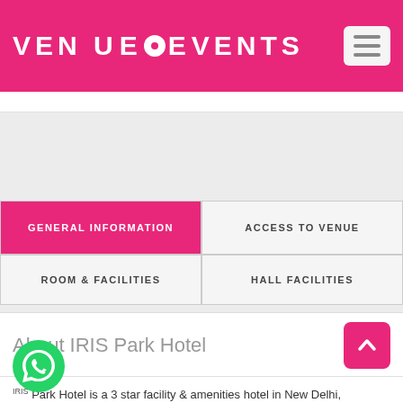VENUE EVENTS
GENERAL INFORMATION
ACCESS TO VENUE
ROOM & FACILITIES
HALL FACILITIES
About IRIS Park Hotel
IRIS Park Hotel is a 3 star facility & amenities hotel in New Delhi,
The hotel has facilities for business meetings, conferences